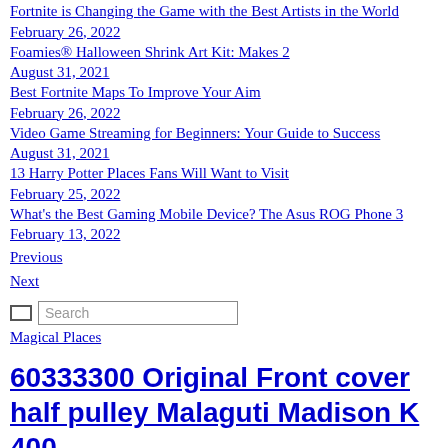Fortnite is Changing the Game with the Best Artists in the World
February 26, 2022
Foamies® Halloween Shrink Art Kit: Makes 2
August 31, 2021
Best Fortnite Maps To Improve Your Aim
February 26, 2022
Video Game Streaming for Beginners: Your Guide to Success
August 31, 2021
13 Harry Potter Places Fans Will Want to Visit
February 25, 2022
What's the Best Gaming Mobile Device? The Asus ROG Phone 3
February 13, 2022
Previous
Next
Search
Magical Places
60333300 Original Front cover half pulley Malaguti Madison K 400